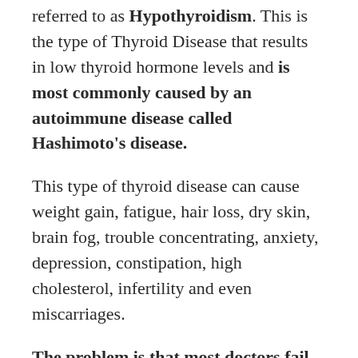referred to as Hypothyroidism. This is the type of Thyroid Disease that results in low thyroid hormone levels and is most commonly caused by an autoimmune disease called Hashimoto's disease.
This type of thyroid disease can cause weight gain, fatigue, hair loss, dry skin, brain fog, trouble concentrating, anxiety, depression, constipation, high cholesterol, infertility and even miscarriages.
The problem is that most doctors fail to properly diagnose Thyroid disease. Most doctors only perform a